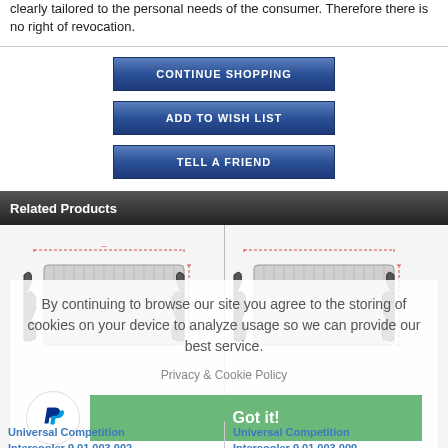clearly tailored to the personal needs of the consumer. Therefore there is no right of revocation.
CONTINUE SHOPPING
ADD TO WISH LIST
TELL A FRIEND
Related Products
[Figure (photo): Two Universal Competition Intercooler units shown side by side with dimension markings]
By continuing to browse our site you agree to the storing of cookies on your device to analyze usage so we can provide our best service.
Privacy & Cookie Policy
Got it!
Universal Competition Intercooler 9.01.003.002
Universal Competition Intercooler 9.01.003.009